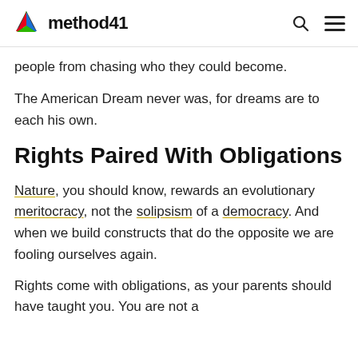method41
people from chasing who they could become.
The American Dream never was, for dreams are to each his own.
Rights Paired With Obligations
Nature, you should know, rewards an evolutionary meritocracy, not the solipsism of a democracy. And when we build constructs that do the opposite we are fooling ourselves again.
Rights come with obligations, as your parents should have taught you. You are not a...